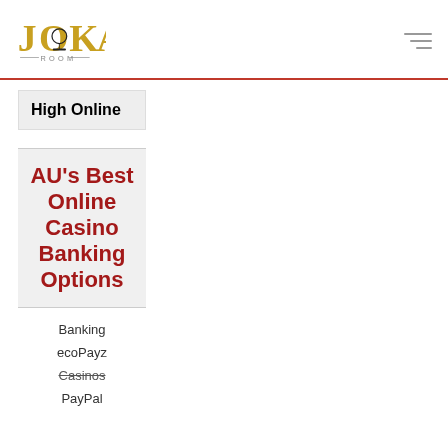JOKA ROOM
High Online
AU's Best Online Casino Banking Options
Banking
ecoPayz
Casinos
PayPal